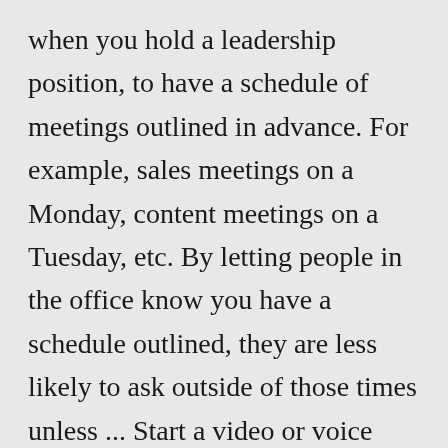when you hold a leadership position, to have a schedule of meetings outlined in advance. For example, sales meetings on a Monday, content meetings on a Tuesday, etc. By letting people in the office know you have a schedule outlined, they are less likely to ask outside of those times unless ... Start a video or voice call. Make sure you have the latest version of the Duo app and Android 7.0 and up. Open the Google Duo